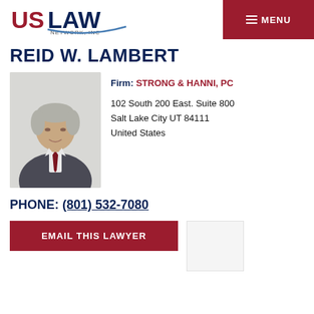US LAW NETWORK, INC | MENU
REID W. LAMBERT
[Figure (photo): Professional headshot of Reid W. Lambert, a man in a grey suit with a red tie, against a light background]
Firm: STRONG & HANNI, PC
102 South 200 East. Suite 800
Salt Lake City UT 84111
United States
PHONE: (801) 532-7080
EMAIL THIS LAWYER